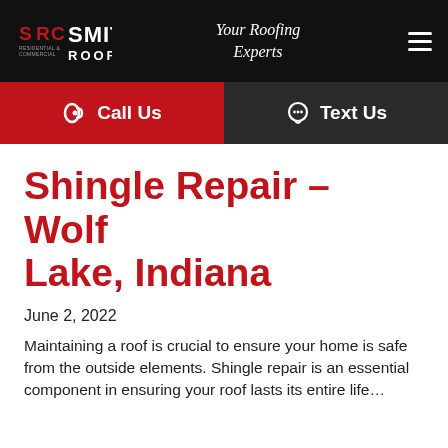[Figure (logo): Smith Roofing Company (SRC) logo with red SRC initials and white SMITH ROOFING text on black background]
Your Roofing Experts
Call Us
Text Us
Shingle Repair – Wolf Lake, Indiana
June 2, 2022
Maintaining a roof is crucial to ensure your home is safe from the outside elements. Shingle repair is an essential component in ensuring your roof lasts its entire lifetime. A number of its primary…